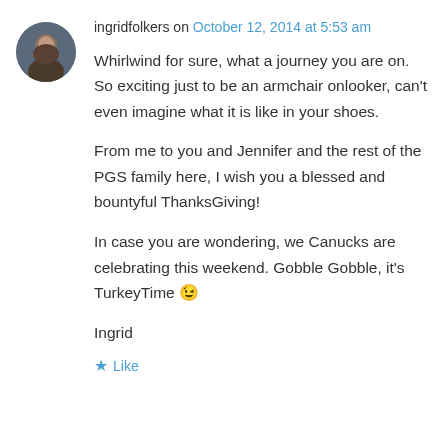[Figure (photo): Circular avatar photo of ingridfolkers, showing a person with dark clothing against a dark/outdoor background]
ingridfolkers on October 12, 2014 at 5:53 am
Whirlwind for sure, what a journey you are on. So exciting just to be an armchair onlooker, can't even imagine what it is like in your shoes.
From me to you and Jennifer and the rest of the PGS family here, I wish you a blessed and bountyful ThanksGiving!
In case you are wondering, we Canucks are celebrating this weekend. Gobble Gobble, it's TurkeyTime 😉
Ingrid
★ Like